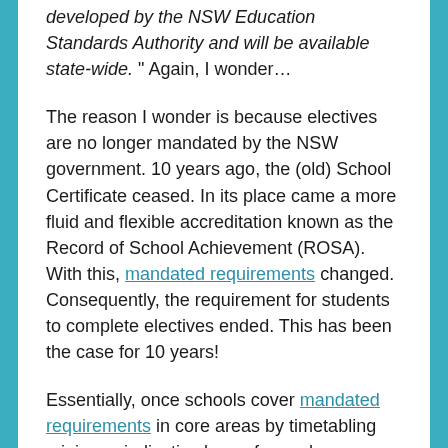developed by the NSW Education Standards Authority and will be available state-wide." Again, I wonder…
The reason I wonder is because electives are no longer mandated by the NSW government. 10 years ago, the (old) School Certificate ceased. In its place came a more fluid and flexible accreditation known as the Record of School Achievement (ROSA). With this, mandated requirements changed. Consequently, the requirement for students to complete electives ended. This has been the case for 10 years!
Essentially, once schools cover mandated requirements in core areas by timetabling minimum indicative hours for each course (subject), there is no need to offer any electives. So, I am wondering, why has the government started its release of curriculum reform with this focus?